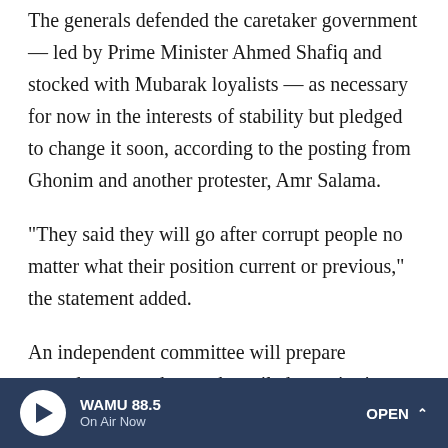The generals defended the caretaker government — led by Prime Minister Ahmed Shafiq and stocked with Mubarak loyalists — as necessary for now in the interests of stability but pledged to change it soon, according to the posting from Ghonim and another protester, Amr Salama.
"They said they will go after corrupt people no matter what their position current or previous," the statement added.
An independent committee will prepare amendments to the much-reviled constitution over the next 10 days, and present them for approval in a popular referendum to be held in two months. The military also encouraged the youth to consider forming political parties — something very difficult to do under the old system — and pledged to meet with them
WAMU 88.5 · On Air Now · OPEN